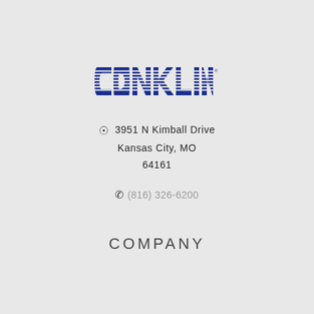[Figure (logo): CONKLIN company logo in bold dark blue with horizontal stripe pattern across the letters]
3951 N Kimball Drive
Kansas City, MO
64161
(816) 326-6200
COMPANY